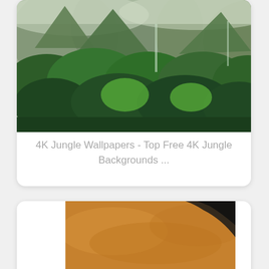[Figure (photo): Misty jungle mountains with dense green tropical forest, waterfalls visible in background, low cloud cover]
4K Jungle Wallpapers - Top Free 4K Jungle Backgrounds ...
[Figure (photo): A movie scene showing a giant monster (Godzilla/Kong style creature) roaring with a military helicopter flying nearby against a dramatic orange sky]